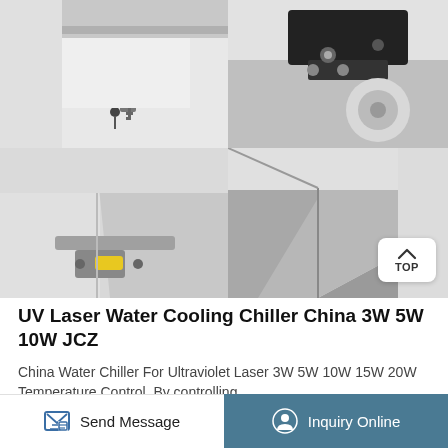[Figure (photo): Four product photos in a 2x2 grid showing details of a UV laser water cooling chiller: top-left shows a lock/key mechanism on a white panel, top-right shows a black metal caster wheel bracket, bottom-left shows a hinge/latch mechanism with a yellow component, bottom-right shows the stainless steel interior corner of the chiller tank.]
UV Laser Water Cooling Chiller China 3W 5W 10W JCZ
China Water Chiller For Ultraviolet Laser 3W 5W 10W 15W 20W Temperature Control. By controlling
Send Message  |  Inquiry Online